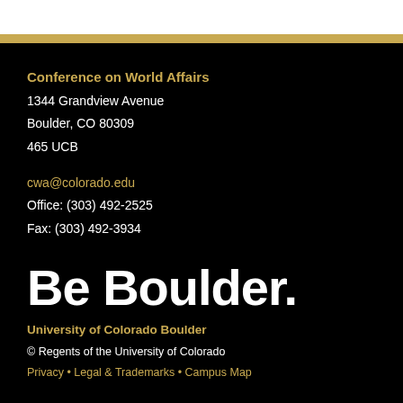Conference on World Affairs
1344 Grandview Avenue
Boulder, CO 80309
465 UCB
cwa@colorado.edu
Office: (303) 492-2525
Fax: (303) 492-3934
Be Boulder.
University of Colorado Boulder
© Regents of the University of Colorado
Privacy • Legal & Trademarks • Campus Map